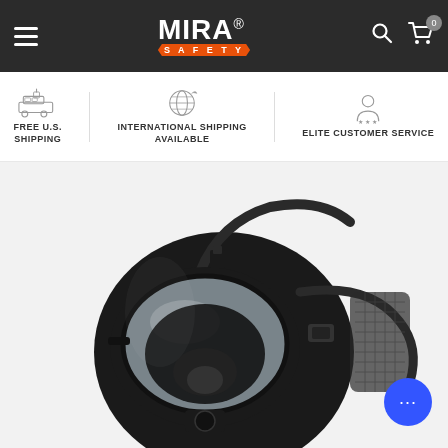MIRA SAFETY navigation bar with hamburger menu, logo, search and cart icons
FREE U.S. SHIPPING
INTERNATIONAL SHIPPING AVAILABLE
ELITE CUSTOMER SERVICE
[Figure (photo): Black full-face gas mask / respirator with clear panoramic visor, black rubber construction, adjustable head harness straps with mesh back panel, shown against white background]